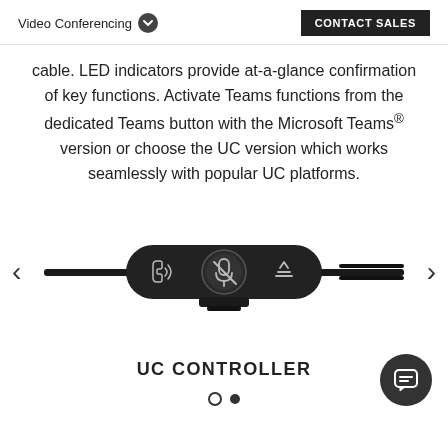Video Conferencing  CONTACT SALES
cable. LED indicators provide at-a-glance confirmation of key functions. Activate Teams functions from the dedicated Teams button with the Microsoft Teams® version or choose the UC version which works seamlessly with popular UC platforms.
[Figure (photo): A close-up photo of a UC controller device — a small dark rounded-rectangle inline remote with three buttons (call/speaker icon, mute/microphone circle button, and a signal/triangle icon), attached to a cable running left and right. Left and right navigation arrows are visible on the edges.]
UC CONTROLLER
● ●